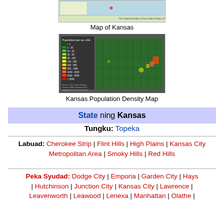[Figure (map): Partial view of a map of Kansas (top portion cropped)]
Map of Kansas
[Figure (map): Kansas Population Density Map showing color-coded population per sq mile with legend from <1 to >1000]
Kansas Population Density Map
State ning Kansas
Tungku: Topeka
Labuad: Cherokee Strip | Flint Hills | High Plains | Kansas City Metropolitan Area | Smoky Hills | Red Hills
Peka Syudad: Dodge City | Emporia | Garden City | Hays | Hutchinson | Junction City | Kansas City | Lawrence | Leavenworth | Leawood | Lenexa | Manhattan | Olathe |